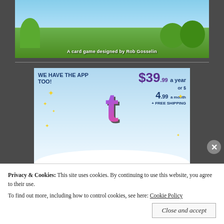[Figure (illustration): Card game illustration showing jungle/forest scene with cartoon characters. Text reads 'A card game designed by Rob Gosselin']
[Figure (advertisement): Tumblr Ad-Free advertisement showing the Tumblr 't' logo with sparkles, pricing: $39.99 a year or $4.99 a month + FREE SHIPPING, with text 'TUMBLR AD-FREE']
Privacy & Cookies: This site uses cookies. By continuing to use this website, you agree to their use. To find out more, including how to control cookies, see here: Cookie Policy
Close and accept